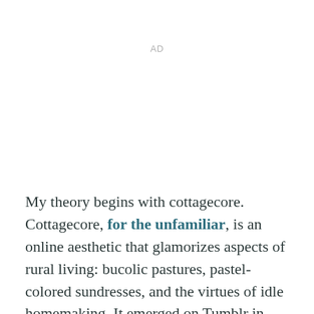AD
My theory begins with cottagecore. Cottagecore, for the unfamiliar, is an online aesthetic that glamorizes aspects of rural living: bucolic pastures, pastel-colored sundresses, and the virtues of idle homemaking. It emerged on Tumblr in 2018, and, like night luxe, exists largely as an online state of mind — a moodboard intended for digital cosplay. Anyone on the internet could personify this charming sylvan